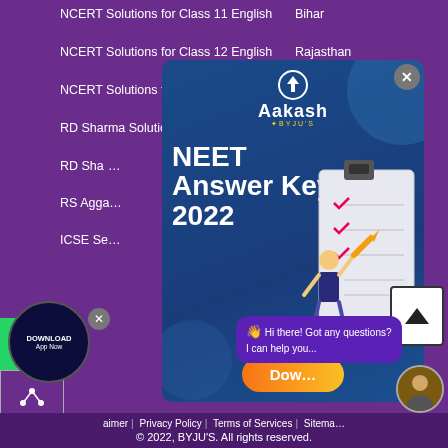NCERT Solutions for Class 11 English
NCERT Solutions for Class 12 English
NCERT Solutions for Class 12
RD Sharma Solutions
RD Sha…
RS Agga…
ICSE Se…
Bihar
Rajasthan
Madhya Pradesh
West Bengal
[Figure (illustration): Aakash by BYJU'S popup ad for NEET Answer Key 2022, showing a student with pencil and clipboard checklist. Includes download button and chat bubble saying 'Hi there! Got any questions? I can help you...']
Hi there! Got any questions? I can help you...
aimer | Privacy Policy | Terms of Services | Sitema…
© 2022, BYJU'S. All rights reserved.